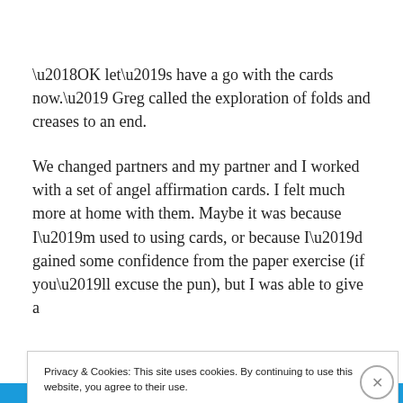'OK let’s have a go with the cards now.’ Greg called the exploration of folds and creases to an end.
We changed partners and my partner and I worked with a set of angel affirmation cards. I felt much more at home with them. Maybe it was because I’m used to using cards, or because I’d gained some confidence from the paper exercise (if you’ll excuse the pun), but I was able to give a
Privacy & Cookies: This site uses cookies. By continuing to use this website, you agree to their use.
To find out more, including how to control cookies, see here: Cookie Policy
Close and accept